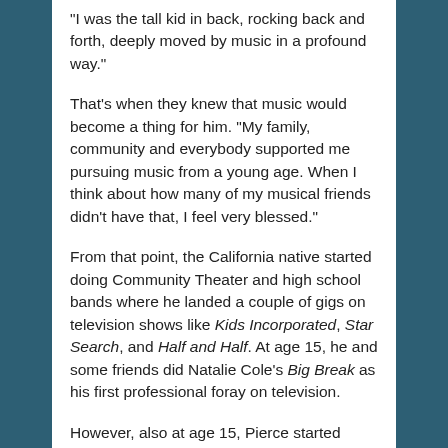“I was the tall kid in back, rocking back and forth, deeply moved by music in a profound way.”
That’s when they knew that music would become a thing for him. “My family, community and everybody supported me pursuing music from a young age. When I think about how many of my musical friends didn’t have that, I feel very blessed.”
From that point, the California native started doing Community Theater and high school bands where he landed a couple of gigs on television shows like Kids Incorporated, Star Search, and Half and Half. At age 15, he and some friends did Natalie Cole’s Big Break as his first professional foray on television.
However, also at age 15, Pierce started losing his hearing. He developed a rare hereditary hearing